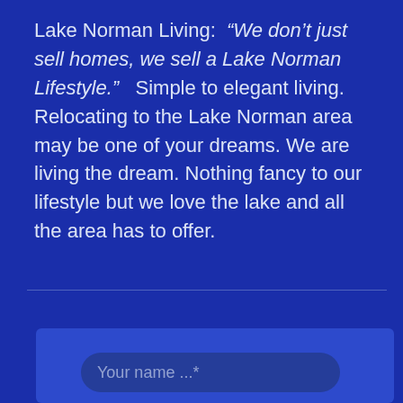Lake Norman Living:  “We don’t just sell homes, we sell a Lake Norman Lifestyle.”  Simple to elegant living. Relocating to the Lake Norman area may be one of your dreams. We are living the dream. Nothing fancy to our lifestyle but we love the lake and all the area has to offer.
[Figure (screenshot): A web form input field with placeholder text 'Your name ...*' on a blue background]